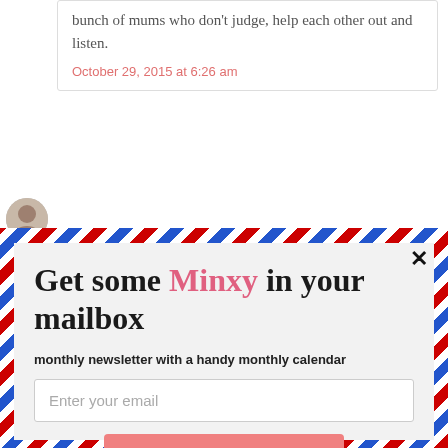bunch of mums who don't judge, help each other out and listen.
October 29, 2015 at 6:26 am
Get some Minxy in your mailbox
monthly newsletter with a handy monthly calendar
Enter your email
Subscribe
powered by MailMunch